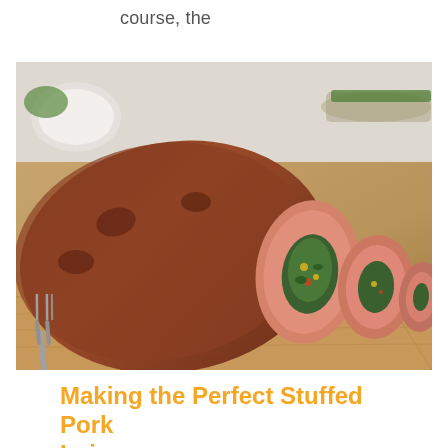course, the
[Figure (photo): A stuffed pork loin sliced open on a wooden cutting board, showing a colorful spinach and vegetable stuffing inside. A small blue bowl of green herb sauce is in the background, along with a serving fork and a plate of green vegetables.]
Making the Perfect Stuffed Pork Loin